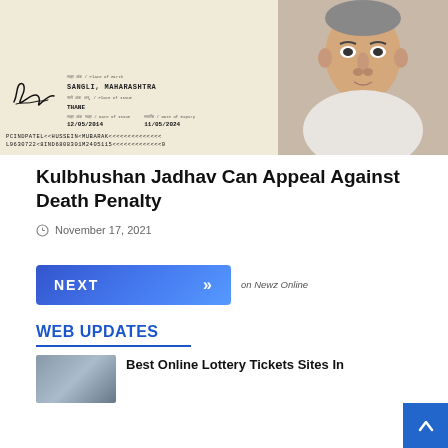[Figure (photo): Passport document showing fields for place of birth (SANGLI, MAHARASHTRA), place of issue (THANE), date of issue 12/05/2014, date of expiry 11/05/2024, with MRZ lines PCINDPATEL<<HUSSEIN<MUBARAK<<<<<<<<<<<<<< and L9630722<8IND6808301M2405115<<<<<<<<<<<<<<0, alongside a photo of a middle-aged man in white clothing]
Kulbhushan Jadhav Can Appeal Against Death Penalty
November 17, 2021
[Figure (other): NEXT button with double chevron arrows, blue gradient background, with 'on Newz Online' text to the right]
WEB UPDATES
[Figure (photo): Thumbnail image for web updates article]
Best Online Lottery Tickets Sites In